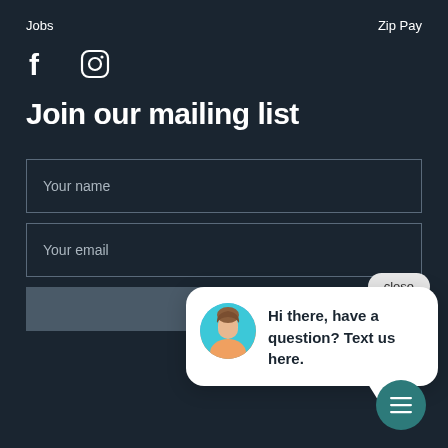Jobs    Zip Pay
[Figure (illustration): Facebook and Instagram social media icons in white on dark background]
Join our mailing list
Your name (form input field)
Your email (form input field)
[Figure (screenshot): Chat popup widget with avatar photo of a woman and text: Hi there, have a question? Text us here. Close button visible. Teal chat trigger button at bottom right.]